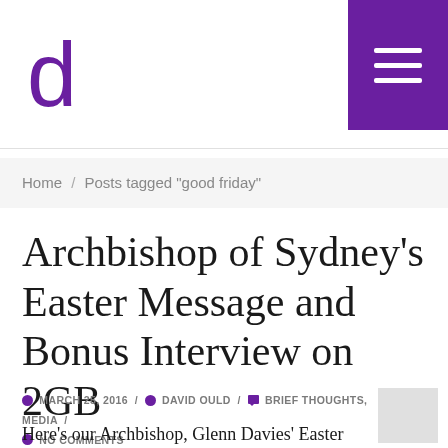d [logo] [hamburger menu]
Home / Posts tagged "good friday"
Archbishop of Sydney's Easter Message and Bonus Interview on 2GB
MARCH 25, 2016 / DAVID OULD / BRIEF THOUGHTS, MEDIA / NO COMMENTS
Here's our Archbishop, Glenn Davies' Easter